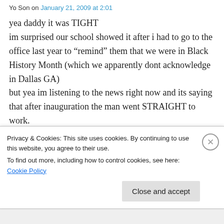Yo Son on January 21, 2009 at 2:01
yea daddy it was TIGHT
im surprised our school showed it after i had to go to the office last year to “remind” them that we were in Black History Month (which we apparently dont acknowledge in Dallas GA)
but yea im listening to the news right now and its saying that after inauguration the man went STRAIGHT to work.
he’s ACTUALLY working on what he said he would.
Privacy & Cookies: This site uses cookies. By continuing to use this website, you agree to their use.
To find out more, including how to control cookies, see here: Cookie Policy
Close and accept